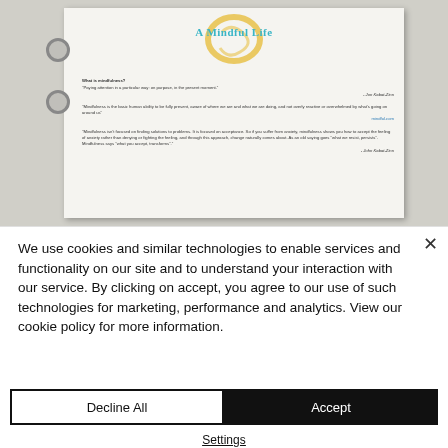[Figure (photo): A binder page from a mindfulness workbook titled 'A Mindful Life' with a golden circle logo and text about mindfulness definitions and quotes from Jon Kabat-Zinn and mindful.com]
We use cookies and similar technologies to enable services and functionality on our site and to understand your interaction with our service. By clicking on accept, you agree to our use of such technologies for marketing, performance and analytics. View our cookie policy for more information.
Decline All
Accept
Settings